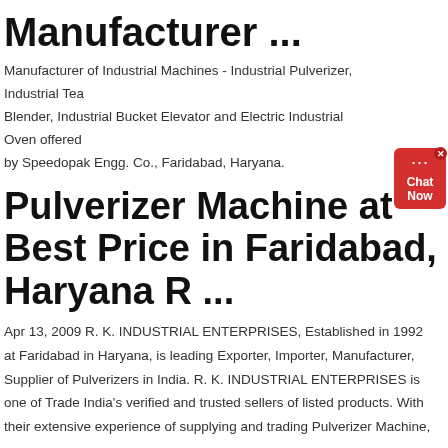Manufacturer ...
Manufacturer of Industrial Machines - Industrial Pulverizer, Industrial Tea Blender, Industrial Bucket Elevator and Electric Industrial Oven offered by Speedopak Engg. Co., Faridabad, Haryana.
Pulverizer Machine at Best Price in Faridabad, Haryana R ...
Apr 13, 2009  R. K. INDUSTRIAL ENTERPRISES, Established in 1992 at Faridabad in Haryana, is leading Exporter, Importer, Manufacturer, Supplier of Pulverizers in India. R. K. INDUSTRIAL ENTERPRISES is one of Trade India's verified and trusted sellers of listed products. With their extensive experience of supplying and trading Pulverizer Machine,